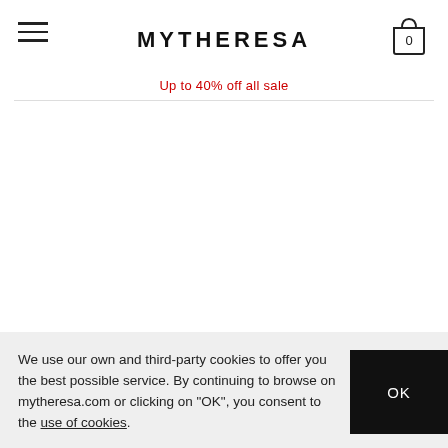MYTHERESA
Up to 40% off all sale
[Figure (other): Empty main content area / product loading area]
We use our own and third-party cookies to offer you the best possible service. By continuing to browse on mytheresa.com or clicking on "OK", you consent to the use of cookies.